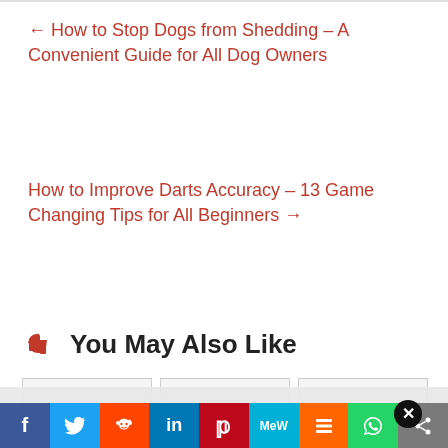← How to Stop Dogs from Shedding – A Convenient Guide for All Dog Owners
How to Improve Darts Accuracy – 13 Game Changing Tips for All Beginners →
You May Also Like
[Figure (other): Three placeholder image cards side by side]
[Figure (other): Social sharing bar with Facebook, Twitter, Reddit, LinkedIn, Pinterest, MeWe, Mix, WhatsApp, Share buttons]